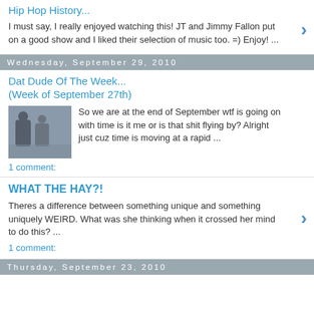Hip Hop History...
I must say, I really enjoyed watching this! JT and Jimmy Fallon put on a good show and I liked their selection of music too. =) Enjoy! ...
Wednesday, September 29, 2010
Dat Dude Of The Week... (Week of September 27th)
So we are at the end of September wtf is going on with time is it me or is that shit flying by? Alright just cuz time is moving at a rapid ...
1 comment:
WHAT THE HAY?!
Theres a difference between something unique and something uniquely WEIRD. What was she thinking when it crossed her mind to do this? ...
1 comment:
Thursday, September 23, 2010